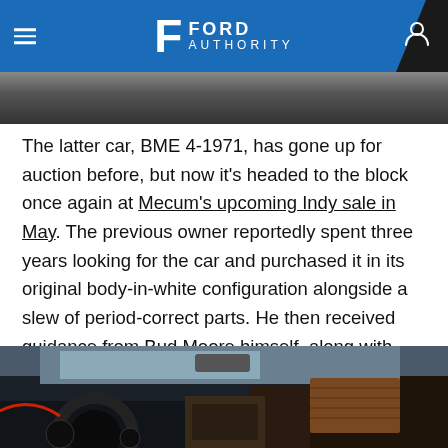Ford Authority
[Figure (photo): Top edge of a car photo, dark background strip]
The latter car, BME 4-1971, has gone up for auction before, but now it's headed to the block once again at Mecum's upcoming Indy sale in May. The previous owner reportedly spent three years looking for the car and purchased it in its original body-in-white configuration alongside a slew of period-correct parts. He then received guidance from Bud Moore himself, along with Moore's son and fellow vintage Trans Am racer Phil Roberts while finishing its assembly.
[Figure (photo): Interior view of a vintage racing car dashboard and steering wheel]